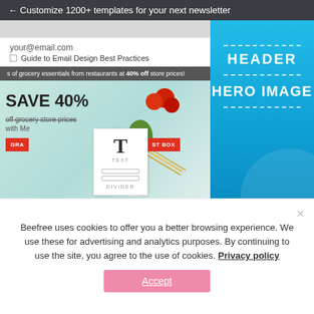← Customize 1200+ templates for your next newsletter
your@email.com
Guide to Email Design Best Practices
s of grocery essentials from restaurants at 40% off store prices!
[Figure (screenshot): Email editor UI showing a grocery email template with 'SAVE 40%' hero image, food items, text and divider tool widgets, and a blue right panel labeled HEADER and HERO IMAGE]
Beefree uses cookies to offer you a better browsing experience. We use these for advertising and analytics purposes. By continuing to use the site, you agree to the use of cookies. Privacy policy
Accept